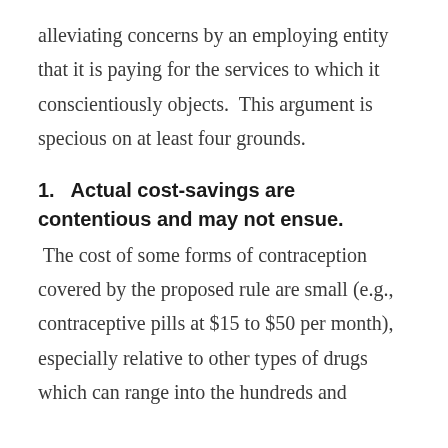alleviating concerns by an employing entity that it is paying for the services to which it conscientiously objects.  This argument is specious on at least four grounds.
1.   Actual cost-savings are contentious and may not ensue.
The cost of some forms of contraception covered by the proposed rule are small (e.g., contraceptive pills at $15 to $50 per month), especially relative to other types of drugs which can range into the hundreds and